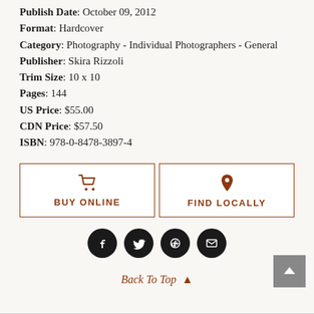Publish Date: October 09, 2012
Format: Hardcover
Category: Photography - Individual Photographers - General
Publisher: Skira Rizzoli
Trim Size: 10 x 10
Pages: 144
US Price: $55.00
CDN Price: $57.50
ISBN: 978-0-8478-3897-4
[Figure (other): BUY ONLINE button with shopping cart icon and FIND LOCALLY button with map pin icon, side by side with brown borders]
[Figure (other): Social media icons row: Facebook, Twitter, Google+, Email — black circles]
Back To Top ▲
[Figure (other): Grey scroll-to-top button with up arrow, bottom right corner]